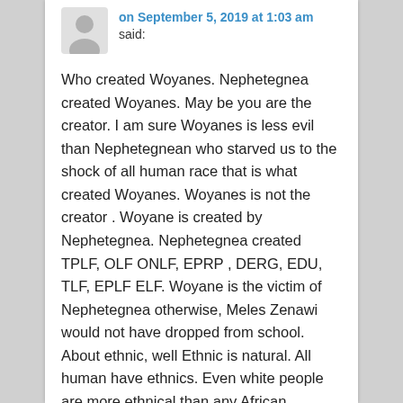on September 5, 2019 at 1:03 am said:
Who created Woyanes. Nephetegnea created Woyanes. May be you are the creator. I am sure Woyanes is less evil than Nephetegnean who starved us to the shock of all human race that is what created Woyanes. Woyanes is not the creator . Woyane is created by Nephetegnea. Nephetegnea created TPLF, OLF ONLF, EPRP , DERG, EDU, TLF, EPLF ELF. Woyane is the victim of Nephetegnea otherwise, Meles Zenawi would not have dropped from school. About ethnic, well Ethnic is natural. All human have ethnics. Even white people are more ethnical than any African because they can trace their ethnic 1000 of generation with their Sir name. Ethnic is not the creation of Woyanes. All human have ethnics. The problem is not ethnic,